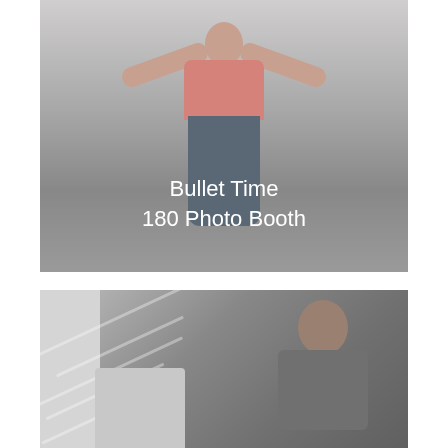[Figure (photo): Photo of a man in a pink shirt with arms raised above his head, wearing jeans, posed against a light gray background. White text overlay reads 'Bullet Time 180 Photo Booth'.]
[Figure (photo): Photo of a man in a gray t-shirt and cap, standing in a room with diagonal light streaks visible in the background. A piece of equipment is partially visible at the bottom left.]